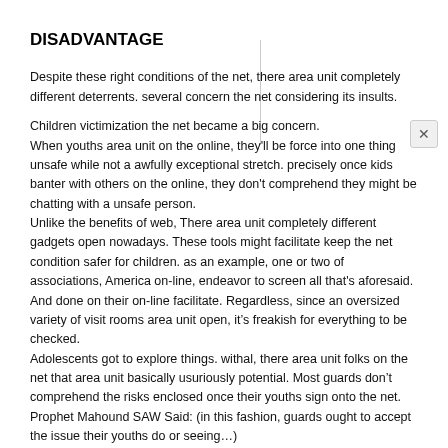DISADVANTAGE
Despite these right conditions of the net, there area unit completely different deterrents. several concern the net considering its insults.

Children victimization the net became a big concern.
When youths area unit on the online, they'll be force into one thing unsafe while not a awfully exceptional stretch. precisely once kids banter with others on the online, they don't comprehend they might be chatting with a unsafe person.
Unlike the benefits of web, There area unit completely different gadgets open nowadays. These tools might facilitate keep the net condition safer for children. as an example, one or two of associations, America on-line, endeavor to screen all that's aforesaid. And done on their on-line facilitate. Regardless, since an oversized variety of visit rooms area unit open, it's freakish for everything to be checked.
Adolescents got to explore things. withal, there area unit folks on the net that area unit basically usuriously potential. Most guards don't comprehend the risks enclosed once their youths sign onto the net.
Prophet Mahound SAW Said: (in this fashion, guards ought to accept the issue their youths do or seeing…)
Watching as to their kids on the overview of Islam…